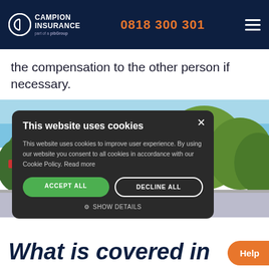Campion Insurance | part of pib Group | 0818 300 301
the compensation to the other person if necessary.
[Figure (photo): Outdoor scene with trees and water in background, partially obscured by cookie consent modal]
This website uses cookies

This website uses cookies to improve user experience. By using our website you consent to all cookies in accordance with our Cookie Policy. Read more

ACCEPT ALL    DECLINE ALL

⚙ SHOW DETAILS
What is covered in f